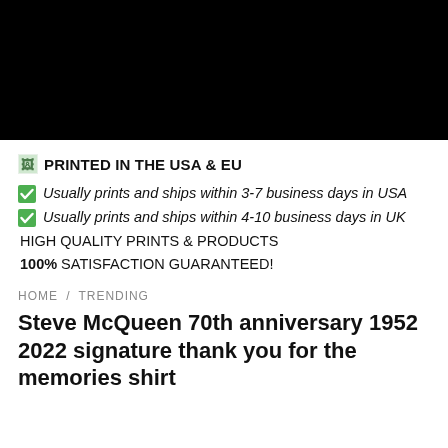[Figure (photo): Black rectangular image placeholder at top of page]
PRINTED IN THE USA & EU
Usually prints and ships within 3-7 business days in USA
Usually prints and ships within 4-10 business days in UK
HIGH QUALITY PRINTS & PRODUCTS
100% SATISFACTION GUARANTEED!
HOME / TRENDING
Steve McQueen 70th anniversary 1952 2022 signature thank you for the memories shirt